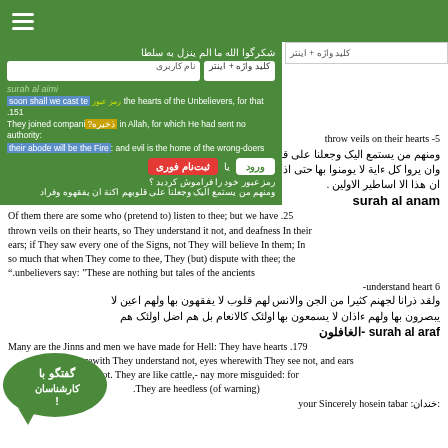☰ (hamburger menu bar)
[Figure (screenshot): Green overlay login/search panel with Arabic text, input fields for username, password, login and register buttons, and forgot password link]
151. soon shall we cast terror into the hearts of the Unbelievers, for that They joined companions with Allah, for which He had sent no authority: their abode will be the Fire: and evil is the home of the wrong-doers
-5 throw veils on their hearts
ومنهم من يستمع اليک وجعلنا على قلوبهم اکنة ان يفقهوه وفى وان يروا کل ءاية لا يومنوا بها حتى اذا جاءوک يجادلونک يقول الذين كفروا ان هذا الا اساطير الاولين .
surah al anam
25. Of them there are some who (pretend to) listen to thee; but we have thrown veils on their hearts, so They understand it not, and deafness In their ears; if They saw every one of the Signs, not They will believe In them; In so much that when They come to thee, They (but) dispute with thee; the unbelievers say: "These are nothing but tales of the ancients".
6- understand heart
ولقد ذرانا لجهنم كثيرا من الجن والانس لهم قلوب لا يفقهون بها ولهم اعين لا يبصرون بها ولهم ءاذان لا يسمعون بها اولئک کالانعام بل هم اضل اولئک هم الغافلون
surah al araf -الغافلون
179. Many are the Jinns and men we have made for Hell: They have hearts wherewith They understand not, eyes wherewith They see not, and ears wherewith They Hear not. They are like cattle,- nay more misguided: for They are heedless (of warning).
خندان: your Sincerely hosein tabar :